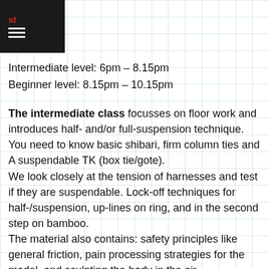≡
Intermediate level: 6pm – 8.15pm
Beginner level: 8.15pm – 10.15pm
The intermediate class focusses on floor work and introduces half- and/or full-suspension technique. You need to know basic shibari, firm column ties and A suspendable TK (box tie/gote).
We look closely at the tension of harnesses and test if they are suspendable. Lock-off techniques for half-/suspension, up-lines on ring, and in the second step on bamboo.
The material also contains: safety principles like general friction, pain processing strategies for the model, and sculpting the body in the air.